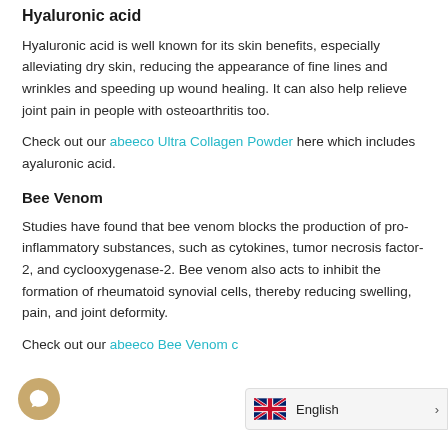Hyaluronic acid
Hyaluronic acid is well known for its skin benefits, especially alleviating dry skin, reducing the appearance of fine lines and wrinkles and speeding up wound healing. It can also help relieve joint pain in people with osteoarthritis too.
Check out our abeeco Ultra Collagen Powder here which includes ayaluronic acid.
Bee Venom
Studies have found that bee venom blocks the production of pro-inflammatory substances, such as cytokines, tumor necrosis factor-2, and cyclooxygenase-2. Bee venom also acts to inhibit the formation of rheumatoid synovial cells, thereby reducing swelling, pain, and joint deformity.
Check out our abeeco Bee Venom c…